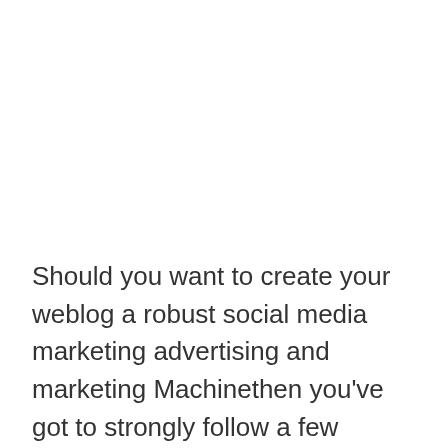Should you want to create your weblog a robust social media marketing advertising and marketing Machinethen you've got to strongly follow a few essential points that may certainly create your weblog a more potent societal networking traffic system, generating traffic traffic flows for the continuing blogging enterprise.